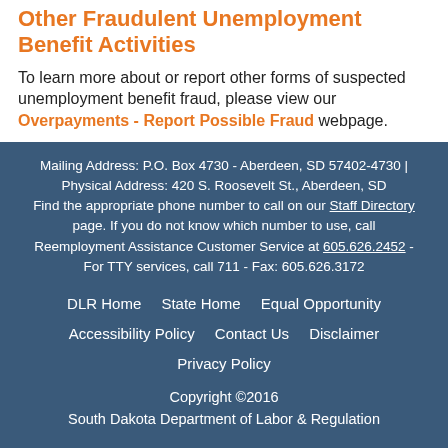Other Fraudulent Unemployment Benefit Activities
To learn more about or report other forms of suspected unemployment benefit fraud, please view our Overpayments - Report Possible Fraud webpage.
Mailing Address: P.O. Box 4730 - Aberdeen, SD 57402-4730 | Physical Address: 420 S. Roosevelt St., Aberdeen, SD Find the appropriate phone number to call on our Staff Directory page. If you do not know which number to use, call Reemployment Assistance Customer Service at 605.626.2452 - For TTY services, call 711 - Fax: 605.626.3172
DLR Home
State Home
Equal Opportunity
Accessibility Policy
Contact Us
Disclaimer
Privacy Policy
Copyright ©2016 South Dakota Department of Labor & Regulation